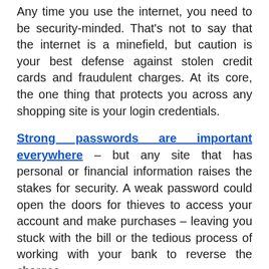Any time you use the internet, you need to be security-minded. That's not to say that the internet is a minefield, but caution is your best defense against stolen credit cards and fraudulent charges. At its core, the one thing that protects you across any shopping site is your login credentials.
Strong passwords are important everywhere – but any site that has personal or financial information raises the stakes for security. A weak password could open the doors for thieves to access your account and make purchases – leaving you stuck with the bill or the tedious process of working with your bank to reverse the charges.
Additionally, no website is ever truly